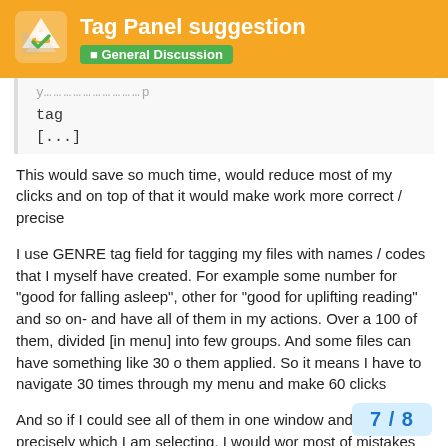Tag Panel suggestion — General Discussion
tag
[...]
This would save so much time, would reduce most of my clicks and on top of that it would make work more correct / precise
I use GENRE tag field for tagging my files with names / codes that I myself have created. For example some number for "good for falling asleep", other for "good for uplifting reading" and so on- and have all of them in my actions. Over a 100 of them, divided [in menu] into few groups. And some files can have something like 30 o them applied. So it means I have to navigate 30 times through my menu and make 60 clicks
And so if I could see all of them in one window and see precisely which I am selecting, I would wor most of mistakes
7 / 8